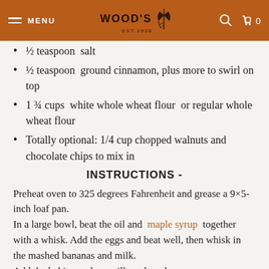MENU | WOOD'S EST.1920 | [search icon] | [cart icon] 0
½ teaspoon salt
½ teaspoon ground cinnamon, plus more to swirl on top
1 ¾ cups white whole wheat flour or regular whole wheat flour
Totally optional: 1/4 cup chopped walnuts and chocolate chips to mix in
INSTRUCTIONS -
Preheat oven to 325 degrees Fahrenheit and grease a 9×5-inch loaf pan.
In a large bowl, beat the oil and maple syrup together with a whisk. Add the eggs and beat well, then whisk in the mashed bananas and milk.
Add the baking soda, vanilla, salt and...